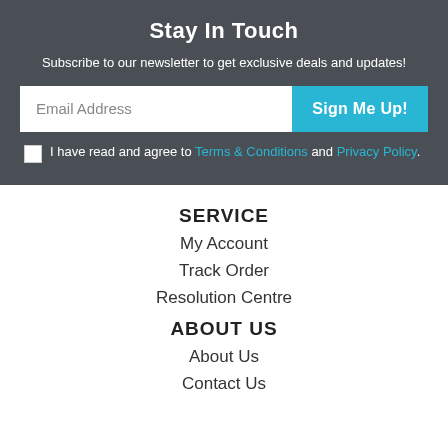Stay In Touch
Subscribe to our newsletter to get exclusive deals and updates!
Email Address | Sign Me Up!
I have read and agree to Terms & Conditions and Privacy Policy.
SERVICE
My Account
Track Order
Resolution Centre
ABOUT US
About Us
Contact Us